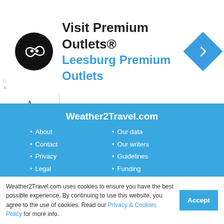[Figure (screenshot): Advertisement banner for Visit Premium Outlets® – Leesburg Premium Outlets, with circular black logo on left and blue navigation diamond icon on right]
Weather2Travel.com
About
Contact
Privacy
Legal
Site map
Our data
Our writers
Guidelines
Funding
In the Press
Follow us
[Figure (illustration): Social media icons: Facebook, Twitter, Pinterest, Instagram in white]
Weather2Travel.com uses cookies to ensure you have the best possible experience. By continuing to use this website, you agree to the use of cookies. Read our Privacy & Cookies Policy for more info.